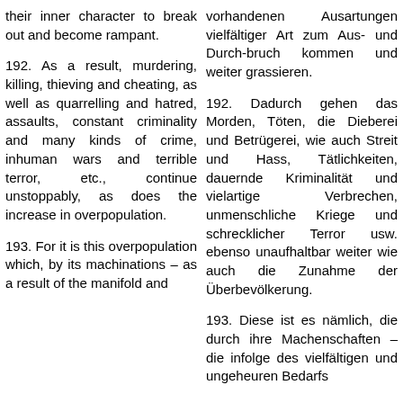their inner character to break out and become rampant.
vorhandenen Ausartungen vielfältiger Art zum Aus- und Durch-bruch kommen und weiter grassieren.
192. As a result, murdering, killing, thieving and cheating, as well as quarrelling and hatred, assaults, constant criminality and many kinds of crime, inhuman wars and terrible terror, etc., continue unstoppably, as does the increase in overpopulation.
192. Dadurch gehen das Morden, Töten, die Dieberei und Betrügerei, wie auch Streit und Hass, Tätlichkeiten, dauernde Kriminalität und vielartige Verbrechen, unmenschliche Kriege und schrecklicher Terror usw. ebenso unaufhaltbar weiter wie auch die Zunahme der Überbevölkerung.
193. For it is this overpopulation which, by its machinations – as a result of the manifold and
193. Diese ist es nämlich, die durch ihre Machenschaften – die infolge des vielfältigen und ungeheuren Bedarfs